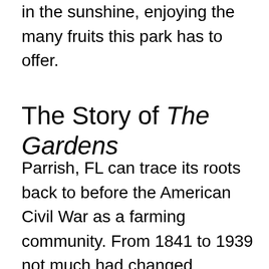in the sunshine, enjoying the many fruits this park has to offer.
The Story of The Gardens
Parrish, FL can trace its roots back to before the American Civil War as a farming community. From 1841 to 1939 not much had changed, records from the early 20th century describe Parrish as a citrus-fruit and vegetable shipping center. As the surrounding area of Bradenton grew people sought a more quiet, albeit not remote, place to live. Parrish has developed into a premier residential